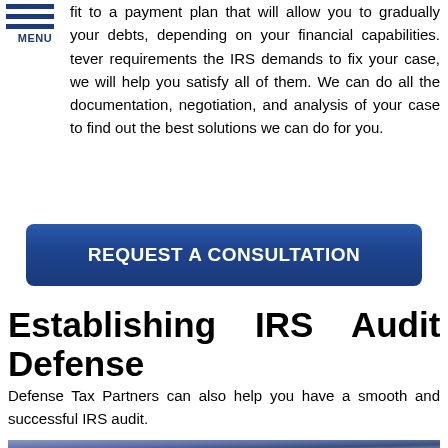MENU
fit to a payment plan that will allow you to gradually your debts, depending on your financial capabilities. tever requirements the IRS demands to fix your case, we will help you satisfy all of them. We can do all the documentation, negotiation, and analysis of your case to find out the best solutions we can do for you.
[Figure (other): Blue button with text REQUEST A CONSULTATION]
Establishing IRS Audit Defense
Defense Tax Partners can also help you have a smooth and successful IRS audit.
[Figure (photo): Man in blue suit and tie holding keys, with blue binders in background. Phone and email icon circles overlaid at bottom right.]